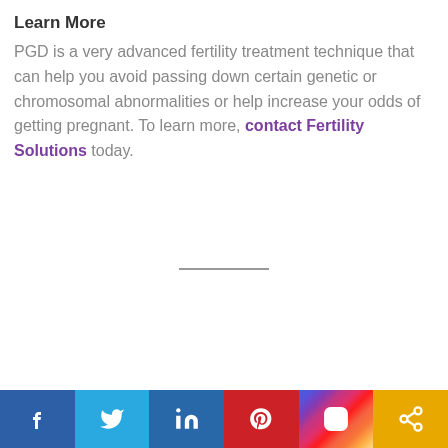Learn More
PGD is a very advanced fertility treatment technique that can help you avoid passing down certain genetic or chromosomal abnormalities or help increase your odds of getting pregnant. To learn more, contact Fertility Solutions today.
Social media links: Facebook, Twitter, LinkedIn, Pinterest, Instagram, Share